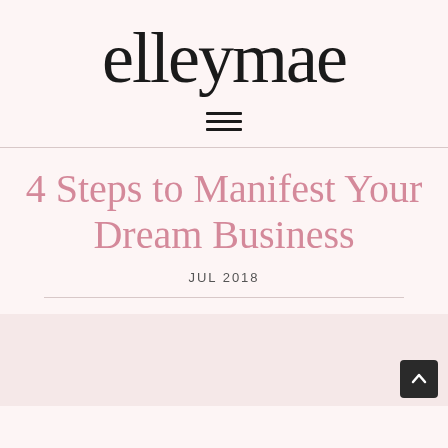elleymae
4 Steps to Manifest Your Dream Business
JUL 2018
[Figure (photo): Partial view of a blog post image below the article title, showing a light pink/white styled photograph, partially cropped at the bottom of the page. A dark back-to-top arrow button appears in the bottom right corner.]